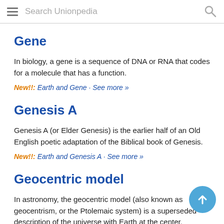Search Unionpedia
Gene
In biology, a gene is a sequence of DNA or RNA that codes for a molecule that has a function.
New!!: Earth and Gene · See more »
Genesis A
Genesis A (or Elder Genesis) is the earlier half of an Old English poetic adaptation of the Biblical book of Genesis.
New!!: Earth and Genesis A · See more »
Geocentric model
In astronomy, the geocentric model (also known as geocentrism, or the Ptolemaic system) is a superseded description of the universe with Earth at the center.
New!!: Earth and Geocentric model · See more »